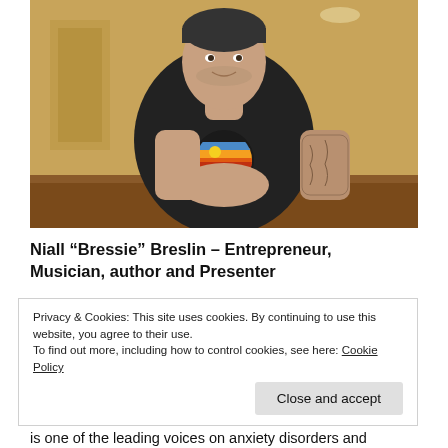[Figure (photo): Photo of Niall 'Bressie' Breslin — a tattooed man in a black t-shirt with a sunset graphic, leaning on a wooden table with hands clasped, smiling, against a warm yellow background.]
Niall “Bressie” Breslin – Entrepreneur, Musician, author and Presenter
Privacy & Cookies: This site uses cookies. By continuing to use this website, you agree to their use.
To find out more, including how to control cookies, see here: Cookie Policy
Close and accept
is one of the leading voices on anxiety disorders and